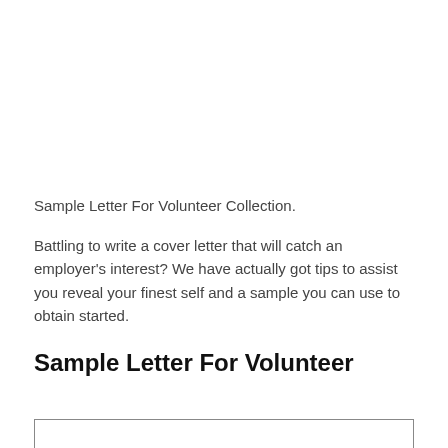Sample Letter For Volunteer Collection.
Battling to write a cover letter that will catch an employer's interest? We have actually got tips to assist you reveal your finest self and a sample you can use to obtain started.
Sample Letter For Volunteer